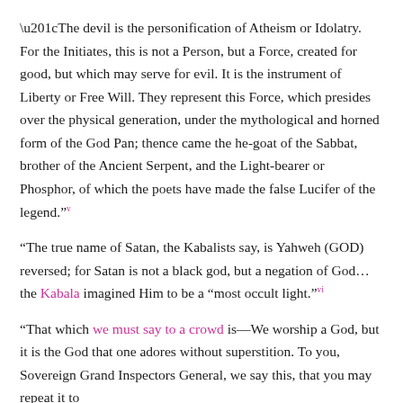“The devil is the personification of Atheism or Idolatry. For the Initiates, this is not a Person, but a Force, created for good, but which may serve for evil. It is the instrument of Liberty or Free Will. They represent this Force, which presides over the physical generation, under the mythological and horned form of the God Pan; thence came the he-goat of the Sabbat, brother of the Ancient Serpent, and the Light-bearer or Phosphor, of which the poets have made the false Lucifer of the legend.”v
“The true name of Satan, the Kabalists say, is Yahweh (GOD) reversed; for Satan is not a black god, but a negation of God… the Kabala imagined Him to be a “most occult light.”vi
“That which we must say to a crowd is—We worship a God, but it is the God that one adores without superstition. To you, Sovereign Grand Inspectors General, we say this, that you may repeat it to